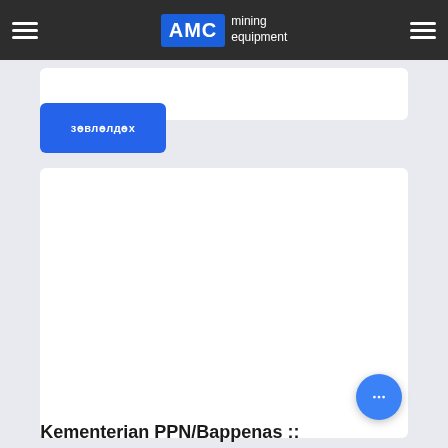AMC mining equipment
[Figure (screenshot): White card / form area at top]
зөвлөлдөх
[Figure (screenshot): Large white card / content area]
Kementerian PPN/Bappenas ::